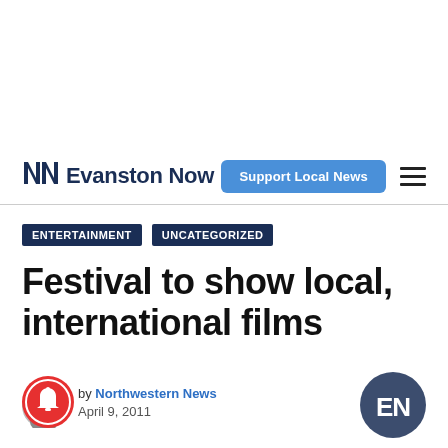Evanston Now | Support Local News
ENTERTAINMENT   UNCATEGORIZED
Festival to show local, international films
by Northwestern News
April 9, 2011